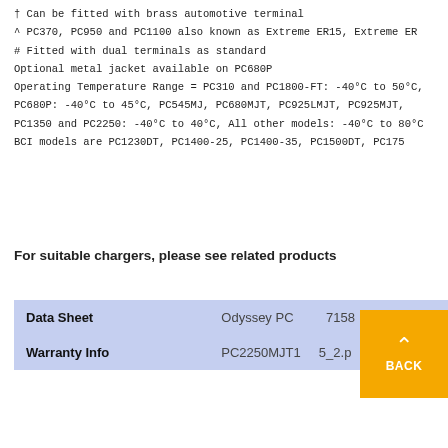† Can be fitted with brass automotive terminal
^ PC370, PC950 and PC1100 also known as Extreme ER15, Extreme ER…
# Fitted with dual terminals as standard
Optional metal jacket available on PC680P
Operating Temperature Range = PC310 and PC1800-FT: -40°C to 50°C,
PC680P: -40°C to 45°C, PC545MJ, PC680MJT, PC925LMJT, PC925MJT,
PC1350 and PC2250: -40°C to 40°C, All other models: -40°C to 80°C
BCI models are PC1230DT, PC1400-25, PC1400-35, PC1500DT, PC175…
For suitable chargers, please see related products
|  |  |
| --- | --- |
| Data Sheet | Odyssey PC… 7158… |
| Warranty Info | PC2250MJT1… 5_2.p… |